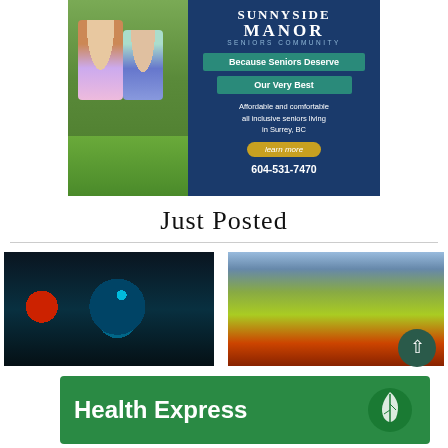[Figure (illustration): Sunnyside Manor seniors community advertisement banner with photo of two elderly women and blue panel with text]
Just Posted
[Figure (photo): Dark photo of a hand holding a glass of dark liquid drink]
[Figure (photo): Photo of youth football players on a field with crowd in bleachers]
[Figure (illustration): Health Express green banner advertisement with leaf logo]